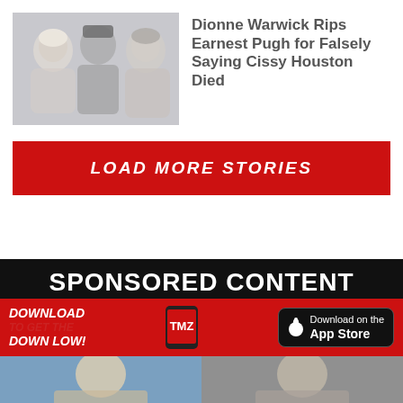[Figure (photo): Three people (two older women and a man in a black cap) in a group photo with faded/washed out background]
Dionne Warwick Rips Earnest Pugh for Falsely Saying Cissy Houston Died
LOAD MORE STORIES
SPONSORED CONTENT
[Figure (infographic): TMZ app download banner with phone mockup, 'Download to get the down low!' text, and App Store download button]
[Figure (photo): Two thumbnail photos of people at the bottom of the page]